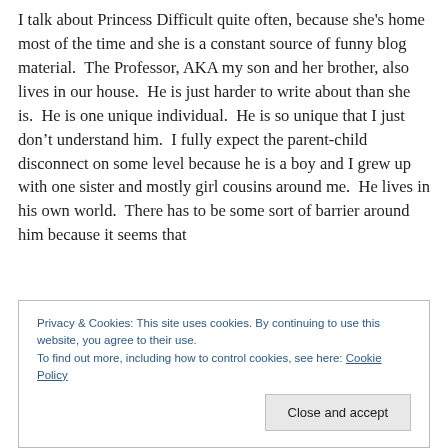I talk about Princess Difficult quite often, because she's home most of the time and she is a constant source of funny blog material.  The Professor, AKA my son and her brother, also lives in our house.  He is just harder to write about than she is.  He is one unique individual.  He is so unique that I just don't understand him.  I fully expect the parent-child disconnect on some level because he is a boy and I grew up with one sister and mostly girl cousins around me.  He lives in his own world.  There has to be some sort of barrier around him because it seems that
Privacy & Cookies: This site uses cookies. By continuing to use this website, you agree to their use.
To find out more, including how to control cookies, see here: Cookie Policy